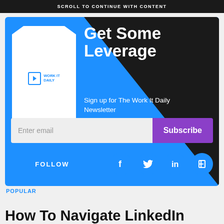SCROLL TO CONTINUE WITH CONTENT
[Figure (infographic): Work It Daily newsletter signup ad with blue and dark background. Shows logo, headline 'Get Some Leverage', subtext 'Sign up for The Work It Daily Newsletter', email input field, Subscribe button, Follow label and social media icons (Facebook, Twitter, LinkedIn, Flipboard).]
POPULAR
How To Navigate LinkedIn